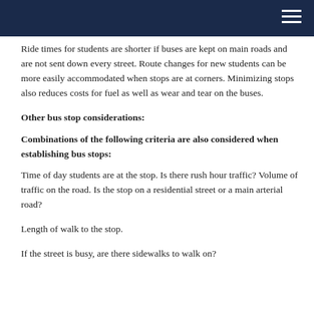Ride times for students are shorter if buses are kept on main roads and are not sent down every street. Route changes for new students can be more easily accommodated when stops are at corners. Minimizing stops also reduces costs for fuel as well as wear and tear on the buses.
Other bus stop considerations:
Combinations of the following criteria are also considered when establishing bus stops:
Time of day students are at the stop. Is there rush hour traffic? Volume of traffic on the road. Is the stop on a residential street or a main arterial road?
Length of walk to the stop.
If the street is busy, are there sidewalks to walk on?